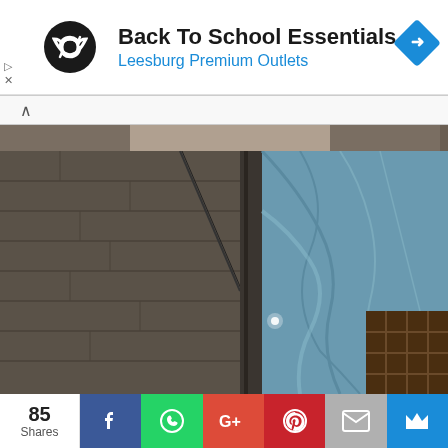[Figure (screenshot): Advertisement banner for 'Back To School Essentials' at Leesburg Premium Outlets with a circular black logo and blue navigation button]
[Figure (photo): Interior photo of a building showing a concrete/block wall on the left side and blue tarp or sheeting on the right side, with wooden shelving visible at the bottom right and a light source visible]
85 Shares
[Figure (screenshot): Social sharing bar with Facebook, WhatsApp, Google+, Pinterest, Email, and crown/bookmark buttons]